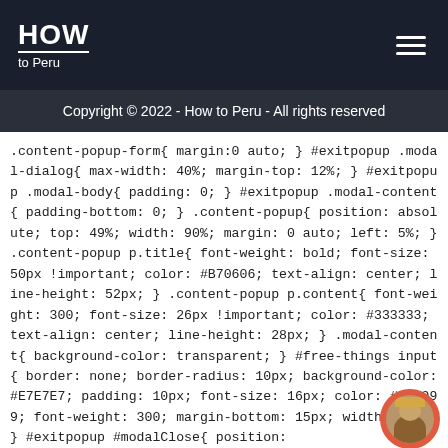HOW to Peru
Copyright © 2022 - How to Peru - All rights reserved
.content-popup-form{ margin:0 auto; } #exitpopup .modal-dialog{ max-width: 40%; margin-top: 12%; } #exitpopup .modal-body{ padding: 0; } #exitpopup .modal-content{ padding-bottom: 0; } .content-popup{ position: absolute; top: 49%; width: 90%; margin: 0 auto; left: 5%; } .content-popup p.title{ font-weight: bold; font-size: 50px !important; color: #B70606; text-align: center; line-height: 52px; } .content-popup p.content{ font-weight: 300; font-size: 26px !important; color: #333333; text-align: center; line-height: 28px; } .modal-content{ background-color: transparent; } #free-things input{ border: none; border-radius: 10px; background-color: #E7E7E7; padding: 10px; font-size: 16px; color: #999999; font-weight: 300; margin-bottom: 15px; width: 100%; } #exitpopup #modalClose{ position: